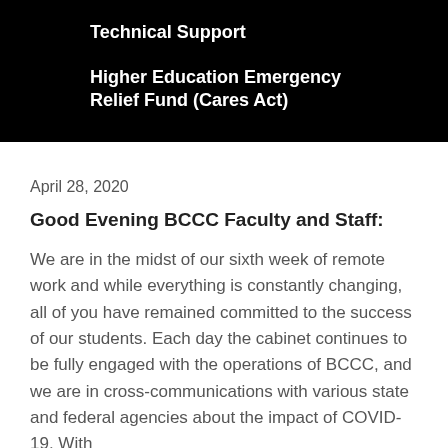Technical Support
Higher Education Emergency Relief Fund (Cares Act)
April 28, 2020
Good Evening BCCC Faculty and Staff:
We are in the midst of our sixth week of remote work and while everything is constantly changing, all of you have remained committed to the success of our students. Each day the cabinet continues to be fully engaged with the operations of BCCC, and we are in cross-communications with various state and federal agencies about the impact of COVID-19. With